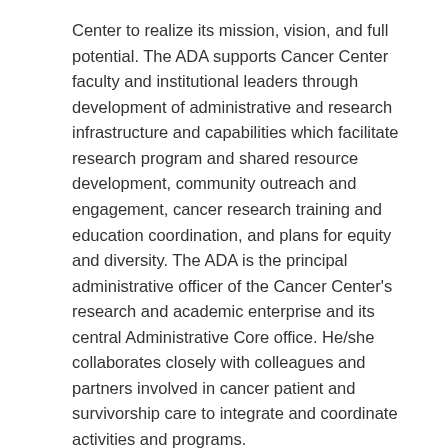Center to realize its mission, vision, and full potential. The ADA supports Cancer Center faculty and institutional leaders through development of administrative and research infrastructure and capabilities which facilitate research program and shared resource development, community outreach and engagement, cancer research training and education coordination, and plans for equity and diversity. The ADA is the principal administrative officer of the Cancer Center's research and academic enterprise and its central Administrative Core office. He/she collaborates closely with colleagues and partners involved in cancer patient and survivorship care to integrate and coordinate activities and programs.
The position provides administrative oversight and drives future strategy for enhancing and expanding cancer-relevant research across the University of Cincinnati (UC) and partner institutions – Cincinnati Children's Hospital Medical Center (CCHMC) and UC Health. The position is essential to building a world class cancer center through innovation and implementation of best practices which will allow the UCCC to